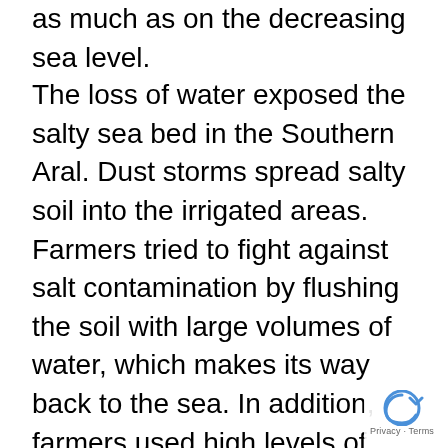as much as on the decreasing sea level.
The loss of water exposed the salty sea bed in the Southern Aral. Dust storms spread salty soil into the irrigated areas. Farmers tried to fight against salt contamination by flushing the soil with large volumes of water, which makes its way back to the sea. In addition, farmers used high levels of pesticides and fertilizers to increase the efficiency of crop production. However, these chemicals leave traces of nitrogen and other salts in high amounts in the soil. By flushing the soil with water to reduce salt levels, pesticides and fertilizers were also washed